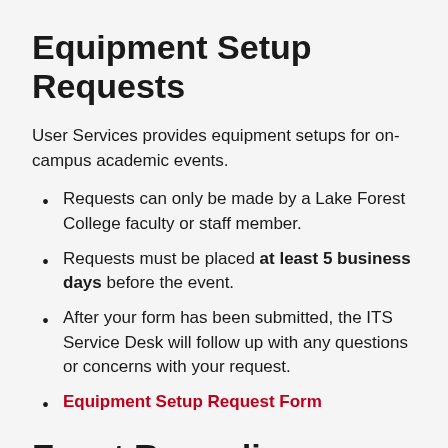Equipment Setup Requests
User Services provides equipment setups for on-campus academic events.
Requests can only be made by a Lake Forest College faculty or staff member.
Requests must be placed at least 5 business days before the event.
After your form has been submitted, the ITS Service Desk will follow up with any questions or concerns with your request.
Equipment Setup Request Form
Event Recording or Live Streaming Requests